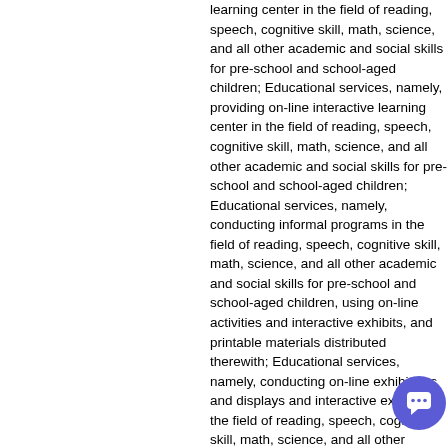learning center in the field of reading, speech, cognitive skill, math, science, and all other academic and social skills for pre-school and school-aged children; Educational services, namely, providing on-line interactive learning center in the field of reading, speech, cognitive skill, math, science, and all other academic and social skills for pre-school and school-aged children; Educational services, namely, conducting informal programs in the field of reading, speech, cognitive skill, math, science, and all other academic and social skills for pre-school and school-aged children, using on-line activities and interactive exhibits, and printable materials distributed therewith; Educational services, namely, conducting on-line exhibitions and displays and interactive exhibits in the field of reading, speech, cognitive skill, math, science, and all other academic and social skills for pre-school and school-aged children
[Figure (other): Chat bubble icon — circular purple button with white chat icon, positioned in the lower right area of the page]